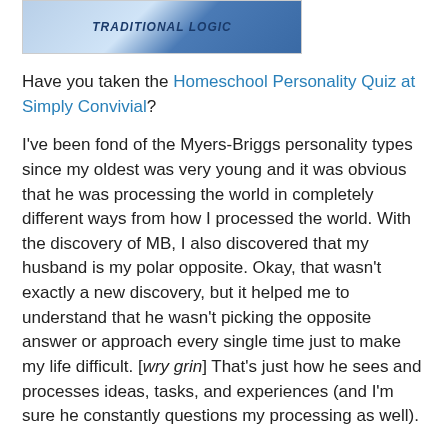[Figure (photo): Partial view of a book cover reading 'Traditional Logic' with blue and white design]
Have you taken the Homeschool Personality Quiz at Simply Convivial?
I've been fond of the Myers-Briggs personality types since my oldest was very young and it was obvious that he was processing the world in completely different ways from how I processed the world. With the discovery of MB, I also discovered that my husband is my polar opposite. Okay, that wasn't exactly a new discovery, but it helped me to understand that he wasn't picking the opposite answer or approach every single time just to make my life difficult. [wry grin] That's just how he sees and processes ideas, tasks, and experiences (and I'm sure he constantly questions my processing as well).
I am an ISFJ. I don't think I have ever scored differently on a MB quiz. How does this personality inform my homeschool style? According to the quiz at Simply Convivial, ISFJs are very supportive and love being useful, but because they also dislike conflict, homeschooling becomes difficult